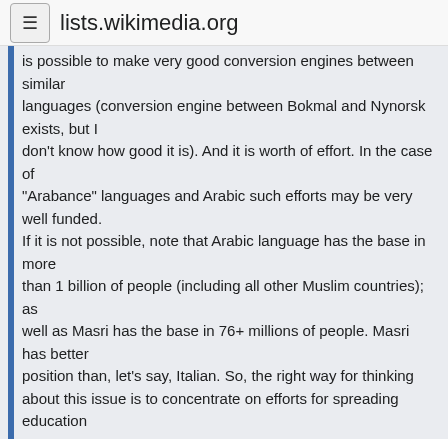lists.wikimedia.org
is possible to make very good conversion engines between similar languages (conversion engine between Bokmal and Nynorsk exists, but I don't know how good it is). And it is worth of effort. In the case of "Arabance" languages and Arabic such efforts may be very well funded.

If it is not possible, note that Arabic language has the base in more than 1 billion of people (including all other Muslim countries); as well as Masri has the base in 76+ millions of people. Masri has better position than, let's say, Italian. So, the right way for thinking about this issue is to concentrate on efforts for spreading education